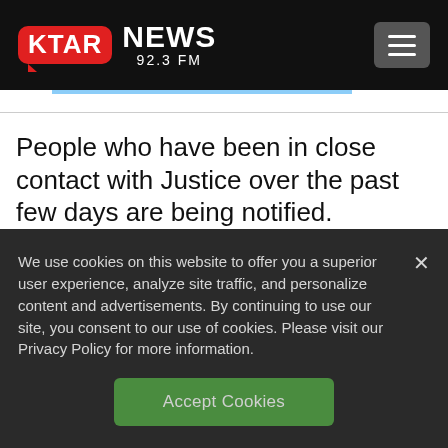[Figure (logo): KTAR News 92.3 FM logo with red rounded rectangle and white KTAR text, followed by NEWS and 92.3 FM text]
People who have been in close contact with Justice over the past few days are being notified. Justice's wife, first lady Cathy
We use cookies on this website to offer you a superior user experience, analyze site traffic, and personalize content and advertisements. By continuing to use our site, you consent to our use of cookies. Please visit our Privacy Policy for more information.
Accept Cookies